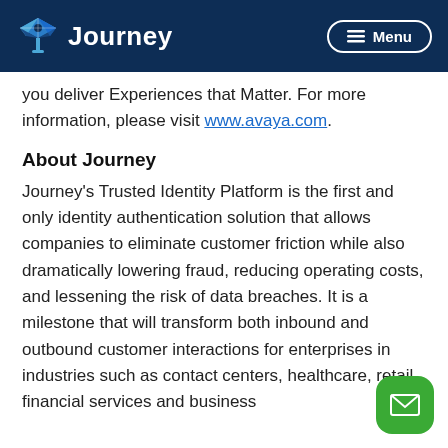Journey — Menu
you deliver Experiences that Matter. For more information, please visit www.avaya.com.
About Journey
Journey's Trusted Identity Platform is the first and only identity authentication solution that allows companies to eliminate customer friction while also dramatically lowering fraud, reducing operating costs, and lessening the risk of data breaches. It is a milestone that will transform both inbound and outbound customer interactions for enterprises in industries such as contact centers, healthcare, retail, financial services and business